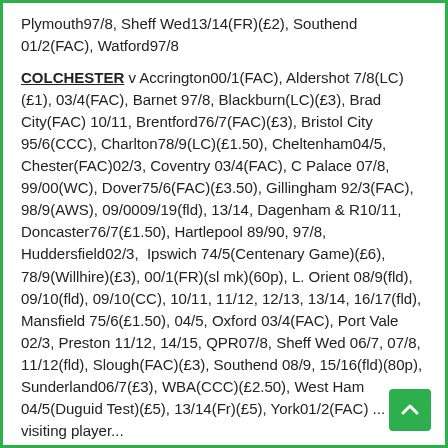Plymouth97/8, Sheff Wed13/14(FR)(£2), Southend 01/2(FAC), Watford97/8
COLCHESTER v Accrington00/1(FAC), Aldershot 7/8(LC)(£1), 03/4(FAC), Barnet 97/8, Blackburn(LC)(£3), Brad City(FAC) 10/11, Brentford76/7(FAC)(£3), Bristol City 95/6(CCC), Charlton78/9(LC)(£1.50), Cheltenham04/5, Chester(FAC)02/3, Coventry 03/4(FAC), C Palace 07/8, 99/00(WC), Dover75/6(FAC)(£3.50), Gillingham 92/3(FAC), 98/9(AWS), 09/0009/19(fld), 13/14, Dagenham & R10/11, Doncaster76/7(£1.50), Hartlepool 89/90, 97/8, Huddersfield02/3, Ipswich 74/5(Centenary Game)(£6), 78/9(Willhire)(£3), 00/1(FR)(sl mk)(60p), L. Orient 08/9(fld), 09/10(fld), 09/10(CC), 10/11, 11/12, 12/13, 13/14, 16/17(fld), Mansfield 75/6(£1.50), 04/5, Oxford 03/4(FAC), Port Vale 02/3, Preston 11/12, 14/15, QPR07/8, Sheff Wed 06/7, 07/8, 11/12(fld), Slough(FAC)(£3), Southend 08/9, 15/16(fld)(80p), Sunderland06/7(£3), WBA(CCC)(£2.50), West Ham 04/5(Duguid Test)(£5), 13/14(Fr)(£5), York01/2(FAC) ... visiting player...